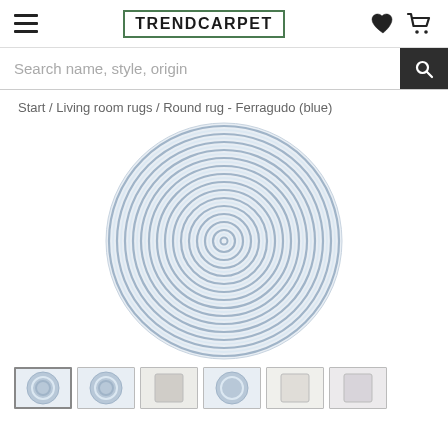TRENDCARPET — navigation header with hamburger menu, logo, heart icon, cart icon
Search name, style, origin
Start / Living room rugs / Round rug - Ferragudo (blue)
[Figure (photo): Round blue woven rug (Ferragudo blue) with spiral concentric circle pattern, light blue and white tones]
[Figure (photo): Row of 6 small thumbnail images of the rug product from different angles or color variants]